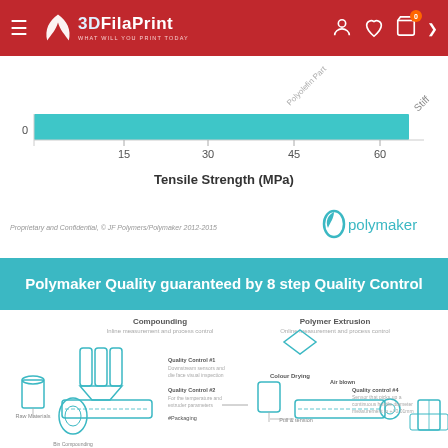3DFilaPrint — WHAT WILL YOU PRINT TODAY?
[Figure (bar-chart): Horizontal bar chart showing tensile strength in MPa. A teal bar extends from 0 to approximately 68 MPa, labeled 'Stiff'. X-axis ticks at 0, 15, 30, 45, 60.]
Proprietary and Confidential, © JF Polymers/Polymaker 2012-2015
[Figure (logo): Polymaker brand logo — teal swirl with 'polymaker' text]
Polymaker Quality guaranteed by 8 step Quality Control
[Figure (flowchart): Manufacturing process flowchart showing Compounding and Polymer Extrusion steps with quality control checkpoints, drying, and extrusion equipment illustrated in teal line art.]